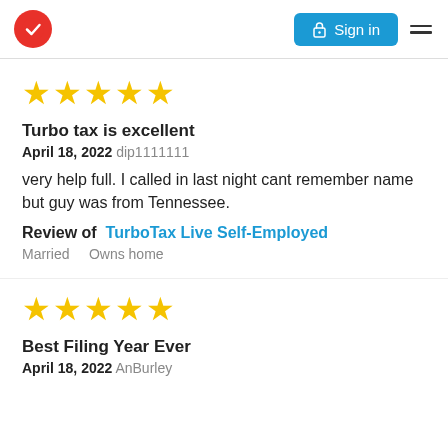TurboTax logo | Sign in | Menu
[Figure (other): Five gold stars rating]
Turbo tax is excellent
April 18, 2022 dip1111111
very help full. I called in last night cant remember name but guy was from Tennessee.
Review of   TurboTax Live Self-Employed
Married    Owns home
[Figure (other): Five gold stars rating]
Best Filing Year Ever
April 18, 2022 AnBurley